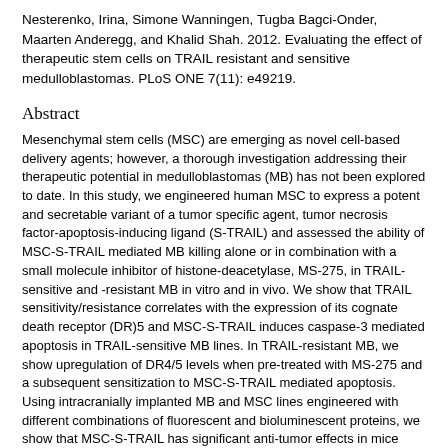Nesterenko, Irina, Simone Wanningen, Tugba Bagci-Onder, Maarten Anderegg, and Khalid Shah. 2012. Evaluating the effect of therapeutic stem cells on TRAIL resistant and sensitive medulloblastomas. PLoS ONE 7(11): e49219.
Abstract
Mesenchymal stem cells (MSC) are emerging as novel cell-based delivery agents; however, a thorough investigation addressing their therapeutic potential in medulloblastomas (MB) has not been explored to date. In this study, we engineered human MSC to express a potent and secretable variant of a tumor specific agent, tumor necrosis factor-apoptosis-inducing ligand (S-TRAIL) and assessed the ability of MSC-S-TRAIL mediated MB killing alone or in combination with a small molecule inhibitor of histone-deacetylase, MS-275, in TRAIL-sensitive and -resistant MB in vitro and in vivo. We show that TRAIL sensitivity/resistance correlates with the expression of its cognate death receptor (DR)5 and MSC-S-TRAIL induces caspase-3 mediated apoptosis in TRAIL-sensitive MB lines. In TRAIL-resistant MB, we show upregulation of DR4/5 levels when pre-treated with MS-275 and a subsequent sensitization to MSC-S-TRAIL mediated apoptosis. Using intracranially implanted MB and MSC lines engineered with different combinations of fluorescent and bioluminescent proteins, we show that MSC-S-TRAIL has significant anti-tumor effects in mice bearing TRAIL-sensitive and MS-275 pre-treated TRAIL-resistant MBs. To conclude, this is the first study that explores the use of